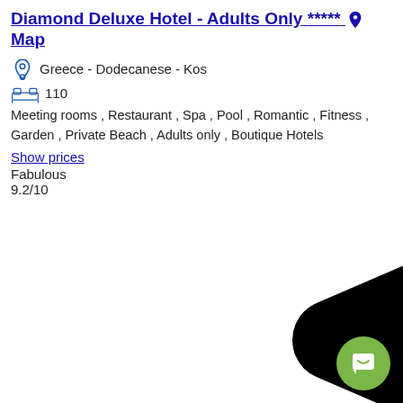Diamond Deluxe Hotel - Adults Only ***** 📍 Map
Greece - Dodecanese - Kos
110
Meeting rooms , Restaurant , Spa , Pool , Romantic , Fitness , Garden , Private Beach , Adults only , Boutique Hotels
Show prices
Fabulous
9.2/10
[Figure (illustration): Large black arrow/chevron pointing left, partially visible at the bottom of the page. Green circular chat button in bottom-right corner.]